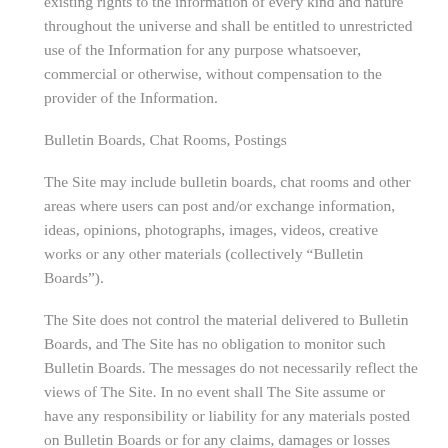existing rights to the information of every kind and nature throughout the universe and shall be entitled to unrestricted use of the Information for any purpose whatsoever, commercial or otherwise, without compensation to the provider of the Information.
Bulletin Boards, Chat Rooms, Postings
The Site may include bulletin boards, chat rooms and other areas where users can post and/or exchange information, ideas, opinions, photographs, images, videos, creative works or any other materials (collectively “Bulletin Boards”).
The Site does not control the material delivered to Bulletin Boards, and The Site has no obligation to monitor such Bulletin Boards. The messages do not necessarily reflect the views of The Site. In no event shall The Site assume or have any responsibility or liability for any materials posted on Bulletin Boards or for any claims, damages or losses resulting from their use and/or